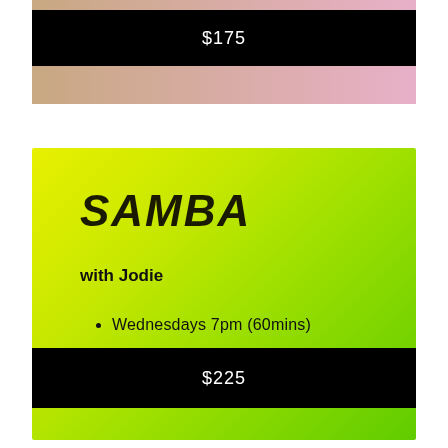$175
SAMBA
with Jodie
Wednesdays 7pm (60mins)
Price includes Performer Shirt
Costume cost additional
$225